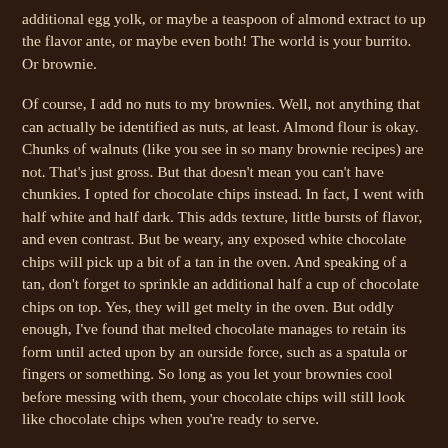additional egg yolk, or maybe a teaspoon of almond extract to up the flavor ante, or maybe even both! The world is your burrito. Or brownie.
Of course, I add no nuts to my brownies. Well, not anything that can actually be identified as nuts, at least. Almond flour is okay. Chunks of walnuts (like you see in so many brownie recipes) are not. That's just gross. But that doesn't mean you can't have chunkies. I opted for chocolate chips instead. In fact, I went with half white and half dark. This adds texture, little bursts of flavor, and even contrast. But be weary, any exposed white chocolate chips will pick up a bit of a tan in the oven. And speaking of a tan, don't forget to sprinkle an additional half a cup of chocolate chips on top. Yes, they will get melty in the oven. But oddly enough, I've found that melted chocolate manages to retain its form until acted upon by an ourside force, such as a spatula or fingers or something. So long as you let your brownies cool before messing with them, your chocolate chips will still look like chocolate chips when you're ready to serve.
Before we start putting everything together, go ahead and